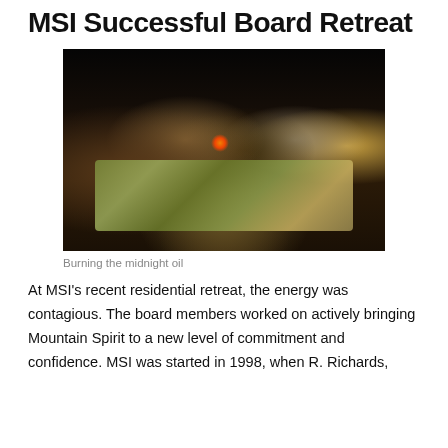MSI Successful Board Retreat
[Figure (photo): Group of board members sitting around an outdoor picnic table at night with candles, floral tablecloth, food and drinks. A dog is visible in the lower left corner.]
Burning the midnight oil
At MSI's recent residential retreat, the energy was contagious. The board members worked on actively bringing Mountain Spirit to a new level of commitment and confidence. MSI was started in 1998, when R. Richards,